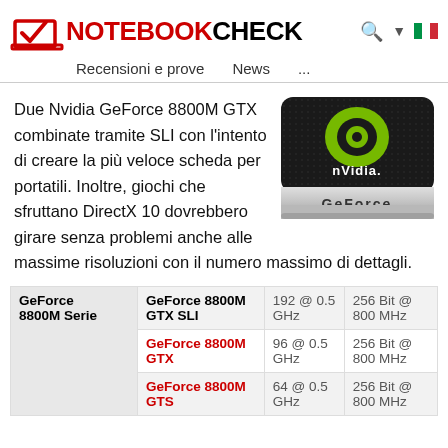NOTEBOOKCHECK
Recensioni e prove   News   ...
Due Nvidia GeForce 8800M GTX combinate tramite SLI con l'intento di creare la più veloce scheda per portatili. Inoltre, giochi che sfruttano DirectX 10 dovrebbero girare senza problemi anche alle massime risoluzioni con il numero massimo di dettagli.
[Figure (logo): NVIDIA GeForce logo badge — dark rounded square with green NVIDIA eye logo, 'nVidia.' text and 'GeForce' text on metallic silver strip]
| Category | GPU Name | Shaders @ Clock | Bus @ Memory |
| --- | --- | --- | --- |
| GeForce 8800M Serie | GeForce 8800M GTX SLI | 192 @ 0.5 GHz | 256 Bit @ 800 MHz |
|  | GeForce 8800M GTX | 96 @ 0.5 GHz | 256 Bit @ 800 MHz |
|  | GeForce 8800M GTS | 64 @ 0.5 GHz | 256 Bit @ 800 MHz |